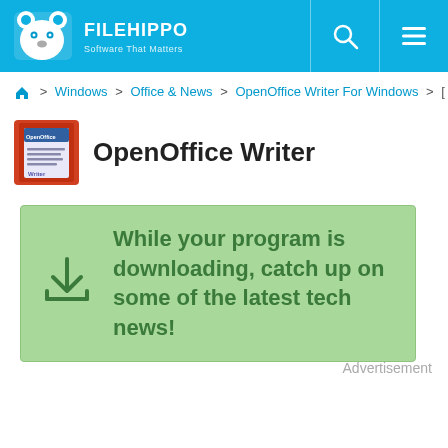FILEHIPPO - Software That Matters
Home > Windows > Office & News > OpenOffice Writer For Windows > [current page]
OpenOffice Writer
While your program is downloading, catch up on some of the latest tech news!
Advertisement